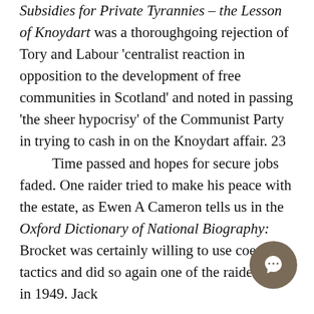Subsidies for Private Tyrannies – the Lesson of Knoydart was a thoroughgoing rejection of Tory and Labour 'centralist reaction in opposition to the development of free communities in Scotland' and noted in passing 'the sheer hypocrisy' of the Communist Party in trying to cash in on the Knoydart affair. 23

Time passed and hopes for secure jobs faded. One raider tried to make his peace with the estate, as Ewen A Cameron tells us in the Oxford Dictionary of National Biography:
Brocket was certainly willing to use coercive tactics and did so again one of the raiders late in 1949. Jack